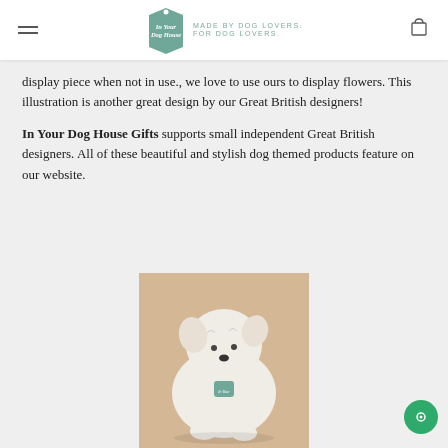In Your Dog House — MADE BY DOG LOVERS. FOR DOG LOVERS.
display piece when not in use., we love to use ours to display flowers. This illustration is another great design by our Great British designers!
In Your Dog House Gifts supports small independent Great British designers. All of these beautiful and stylish dog themed products feature on our website.
[Figure (photo): A small white fluffy dog (West Highland Terrier / Westie) sitting and looking upward, wearing a teal-colored tag around its neck. The dog is photographed against a warm wood-toned floor background.]